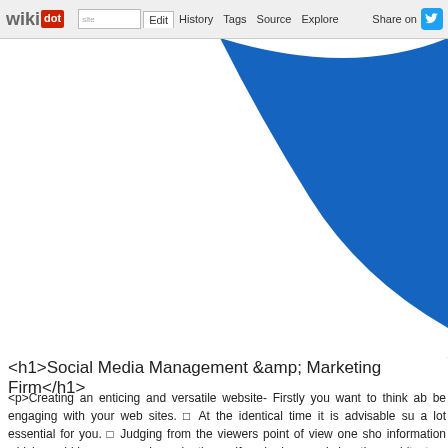wikidot | site | Edit | History | Tags | Source | Explore | Share on Twitter
[Figure (illustration): Large blue decorative curved shape on white background, occupying upper right portion of the page]
<h1>Social Media Management &amp; Marketing Firm</h1>
<p>Creating an enticing and versatile website- Firstly you want to think about be engaging with your web sites. □ At the identical time it is advisable sup a lot essential for you. □ Judging from the viewers point of view one shou information which would be very easy in navigating. □ If you're in regards t location architecture and total presence. Sharing recent content freque